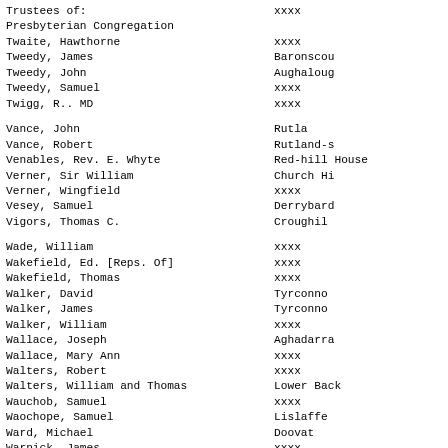Trustees of:                    xxxx
Presbyterian Congregation
Twaite, Hawthorne               xxxx
Tweedy, James                   Baronscou
Tweedy, John                    Aughaloug
Tweedy, Samuel                  xxxx
Twigg, R.. MD                   xxxx
Vance, John                     Rutla
Vance, Robert                   Rutland-s
Venables, Rev. E. Whyte         Red-hill House
Verner, Sir William             Church Hi
Verner, Wingfield               xxxx
Vesey, Samuel                   Derrybard
Vigors, Thomas C.               Croughil
Wade, William                   xxxx
Wakefield, Ed. [Reps. Of]       xxxx
Wakefield, Thomas               xxxx
Walker, David                   Tyrconno
Walker, James                   Tyrconno
Walker, William                 xxxx
Wallace, Joseph                 Aghadarra
Wallace, Mary Ann               xxxx
Walters, Robert                 xxxx
Walters, William and Thomas     Lower Back
Wauchob, Samuel                 xxxx
Waochope, Samuel                Lislaffe
Ward, Michael                   Doovat
Warnick, James                  xxxx